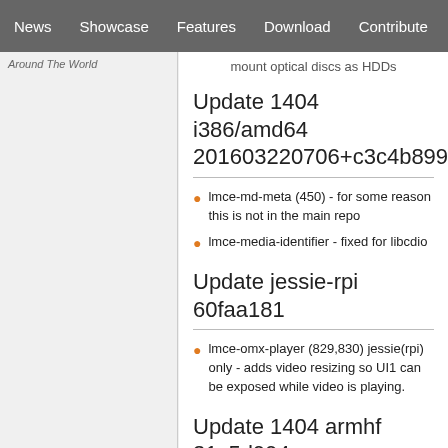News | Showcase | Features | Download | Contribute | Support
Around The World
mount optical discs as HDDs
Update 1404 i386/amd64 201603220706+c3c4b899
lmce-md-meta (450) - for some reason this is not in the main repo
lmce-media-identifier - fixed for libcdio
Update jessie-rpi 60faa181
lmce-omx-player (829,830) jessie(rpi) only - adds video resizing so UI1 can be exposed while video is playing.
Update 1404 armhf 31c5d994